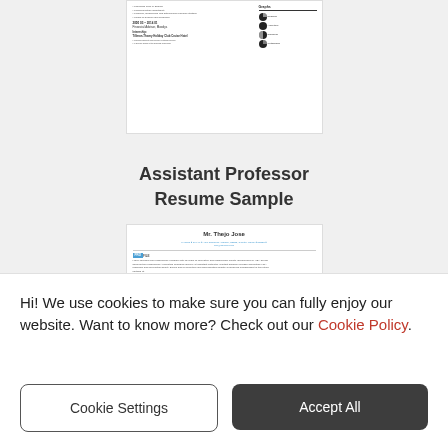[Figure (screenshot): Thumbnail of a resume with skills section showing pie/circle charts on the right side]
Assistant Professor
Resume Sample
[Figure (screenshot): Thumbnail of Assistant Professor resume sample for Mr. Thejo Jose, showing profile, work experience sections with teal/blue section headers]
Hi! We use cookies to make sure you can fully enjoy our website. Want to know more? Check out our Cookie Policy.
Cookie Settings
Accept All